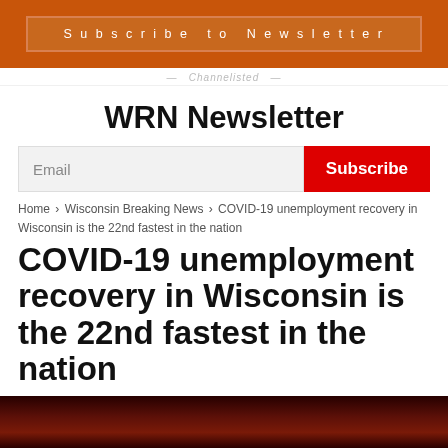Subscribe to Newsletter
WRN Newsletter
Email  Subscribe
Home › Wisconsin Breaking News › COVID-19 unemployment recovery in Wisconsin is the 22nd fastest in the nation
COVID-19 unemployment recovery in Wisconsin is the 22nd fastest in the nation
By The Center Square - October 24, 2020
[Figure (photo): Dark reddish-brown photograph, partial view at bottom of page]